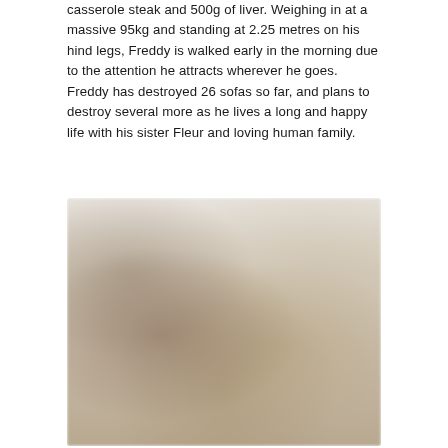casserole steak and 500g of liver. Weighing in at a massive 95kg and standing at 2.25 metres on his hind legs, Freddy is walked early in the morning due to the attention he attracts wherever he goes. Freddy has destroyed 26 sofas so far, and plans to destroy several more as he lives a long and happy life with his sister Fleur and loving human family.
[Figure (photo): A blurred photograph showing what appears to be a large dog with people, in warm neutral tones.]